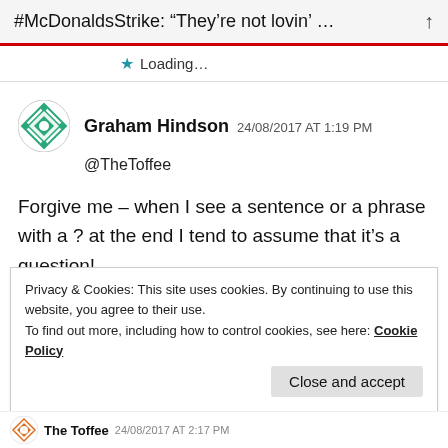#McDonaldsStrike: “They’re not lovin’ …
Loading…
Graham Hindson  24/08/2017 AT 1:19 PM
@TheToffee
Forgive me – when I see a sentence or a phrase with a ? at the end I tend to assume that it’s a question!
Privacy & Cookies: This site uses cookies. By continuing to use this website, you agree to their use.
To find out more, including how to control cookies, see here: Cookie Policy
Close and accept
The Toffee  24/08/2017 AT 2:17 PM